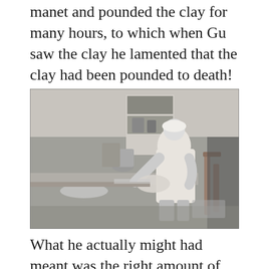manet and pounded the clay for many hours, to which when Gu saw the clay he lamented that the clay had been pounded to death!
[Figure (photo): Black and white photograph of a person, likely a woman wearing a white apron or coat, sitting at a worktable in what appears to be a pottery studio or workshop. She is working with clay. Various pottery tools, mugs, and items are visible on shelves and the table in the background.]
What he actually might had meant was the right amount of air to be pounded out from